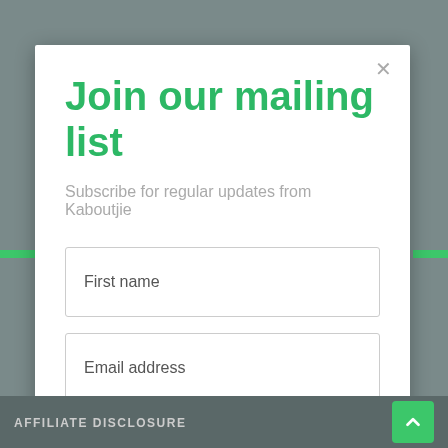Join our mailing list
Subscribe for regular updates from Kaboutjie
First name
Email address
Subscribe
AFFILIATE DISCLOSURE